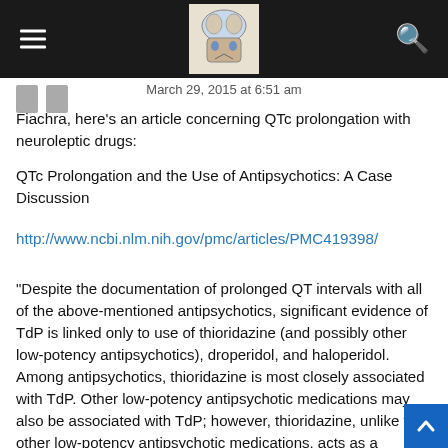[Navigation bar with hamburger menu, brain logo, and search icon]
March 29, 2015 at 6:51 am
Fiachra, here's an article concerning QTc prolongation with neuroleptic drugs:
QTc Prolongation and the Use of Antipsychotics: A Case Discussion
http://www.ncbi.nlm.nih.gov/pmc/articles/PMC419398/
“Despite the documentation of prolonged QT intervals with all of the above-mentioned antipsychotics, significant evidence of TdP is linked only to use of thioridazine (and possibly other low-potency antipsychotics), droperidol, and haloperidol. Among antipsychotics, thioridazine is most closely associated with TdP. Other low-potency antipsychotic medications may also be associated with TdP; however, thioridazine, unlike the other low-potency antipsychotic medications, acts as a calcium-channel